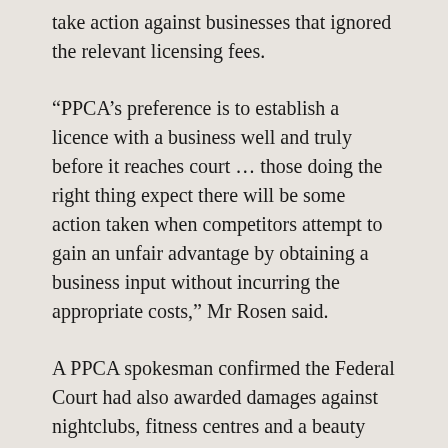take action against businesses that ignored the relevant licensing fees.
“PPCA’s preference is to establish a licence with a business well and truly before it reaches court … those doing the right thing expect there will be some action taken when competitors attempt to gain an unfair advantage by obtaining a business input without incurring the appropriate costs,” Mr Rosen said.
A PPCA spokesman confirmed the Federal Court had also awarded damages against nightclubs, fitness centres and a beauty salon over the past two years.